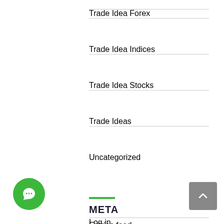Trade Idea Forex
Trade Idea Indices
Trade Idea Stocks
Trade Ideas
Uncategorized
META
Log in
Entries feed